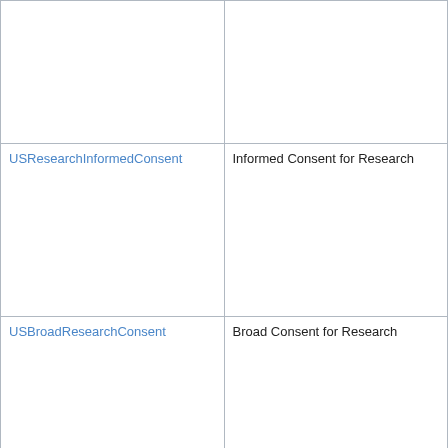| Code | Description |
| --- | --- |
|  |  |
| USResearchInformedConsent | Informed Consent for Research |
| USBroadResearchConsent | Broad Consent for Research |
| _ActInformationActionPolicy | _ActInformationActionPolicy |
| INFOACCESS | access information |
| INFOCOLLECT | collect information |
| INFODEIDENTIFIY | deidentify information |
| INFODISCLOSE | disclose information |